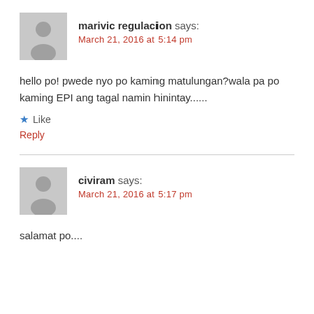marivic regulacion says:
March 21, 2016 at 5:14 pm
hello po! pwede nyo po kaming matulungan?wala pa po kaming EPI ang tagal namin hinintay......
Like
Reply
civiram says:
March 21, 2016 at 5:17 pm
salamat po....